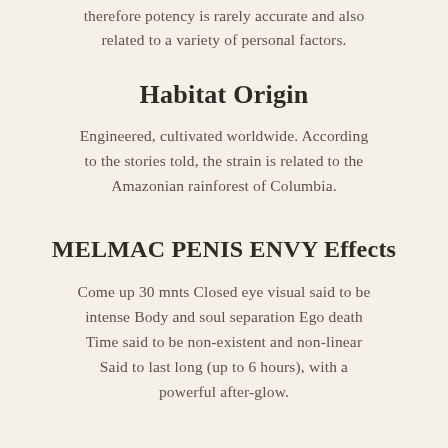therefore potency is rarely accurate and also related to a variety of personal factors.
Habitat Origin
Engineered, cultivated worldwide. According to the stories told, the strain is related to the Amazonian rainforest of Columbia.
MELMAC PENIS ENVY Effects
Come up 30 mnts Closed eye visual said to be intense Body and soul separation Ego death Time said to be non-existent and non-linear Said to last long (up to 6 hours), with a powerful after-glow.